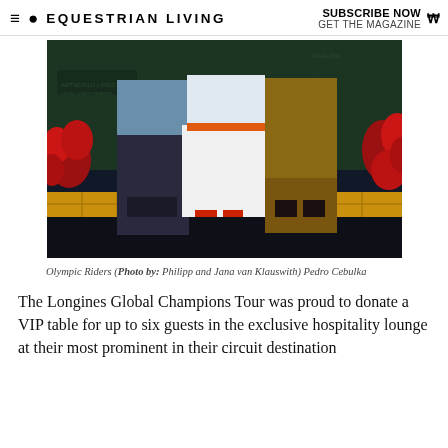≡ 🔍 EQUESTRIAN LIVING | SUBSCRIBE NOW GET THE MAGAZINE
[Figure (photo): Three people standing in front of a Wizard of Oz themed backdrop with yellow brick road and red flowers. Left person in grey shirt and dark pants, center person in white dress with orange belt and red sandals, right person in gold outfit.]
Olympic Riders (Photo by: Philipp and Jana van Klauswith) Pedro Cebulka
The Longines Global Champions Tour was proud to donate a VIP table for up to six guests in the exclusive hospitality lounge at their most prominent in their circuit destination